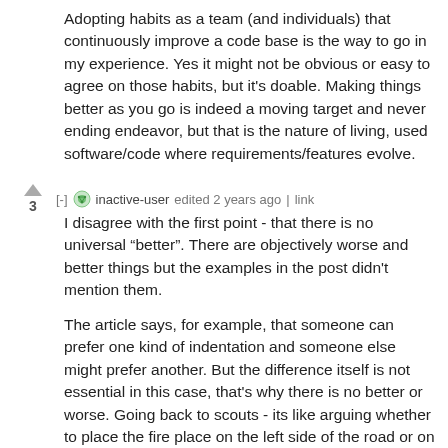Adopting habits as a team (and individuals) that continuously improve a code base is the way to go in my experience. Yes it might not be obvious or easy to agree on those habits, but it's doable. Making things better as you go is indeed a moving target and never ending endeavor, but that is the nature of living, used software/code where requirements/features evolve.
[-] inactive-user edited 2 years ago | link
I disagree with the first point - that there is no universal “better”. There are objectively worse and better things but the examples in the post didn't mention them.
The article says, for example, that someone can prefer one kind of indentation and someone else might prefer another. But the difference itself is not essential in this case, that's why there is no better or worse. Going back to scouts - its like arguing whether to place the fire place on the left side of the road or on the right side of the road. It's hard to see why one should be preferred over others. And so there is no “better” or “worse”. But there are different set of situations and decisions. Like: should we put out the fire before leaving the place? Should we pack the trash? This is where “better” and “worse” is clear.
This also transfers to coding. And its not only about clear cases like...